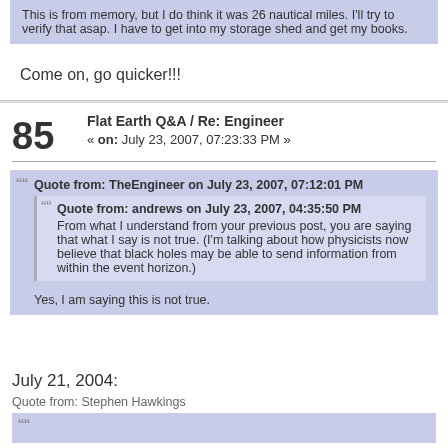This is from memory, but I do think it was 26 nautical miles. I'll try to verify that asap. I have to get into my storage shed and get my books.
Come on, go quicker!!!
Flat Earth Q&A / Re: Engineer
« on: July 23, 2007, 07:23:33 PM »
Quote from: TheEngineer on July 23, 2007, 07:12:01 PM
Quote from: andrews on July 23, 2007, 04:35:50 PM
From what I understand from your previous post, you are saying that what I say is not true. (I'm talking about how physicists now believe that black holes may be able to send information from within the event horizon.)
Yes, I am saying this is not true.
July 21, 2004:
Quote from: Stephen Hawkings